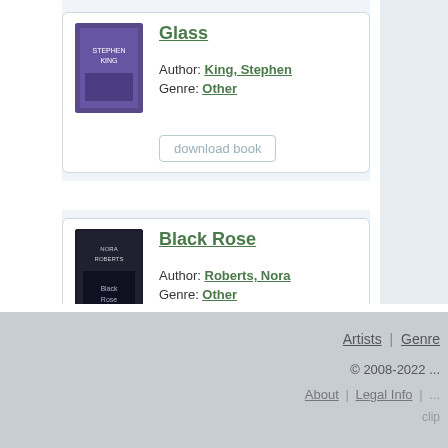Glass – Author: King, Stephen – Genre: Other – download book
Black Rose – Author: Roberts, Nora – Genre: Other – download book
Artists | Genre | © 2008-2022 | About | Legal Info |